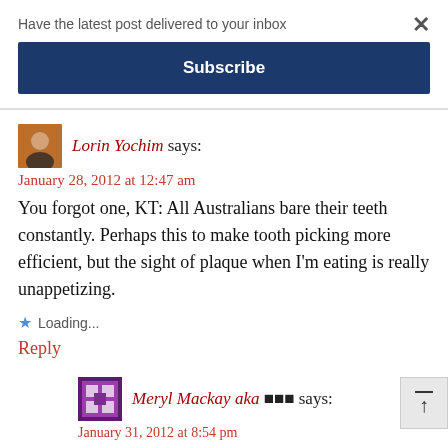Have the latest post delivered to your inbox
× (close button)
Subscribe
Lorin Yochim says:
January 28, 2012 at 12:47 am
You forgot one, KT: All Australians bare their teeth constantly. Perhaps this to make tooth picking more efficient, but the sight of plaque when I'm eating is really unappetizing.
Loading...
Reply
Meryl Mackay aka 🔲🔲🔲 says:
January 31, 2012 at 8:54 pm